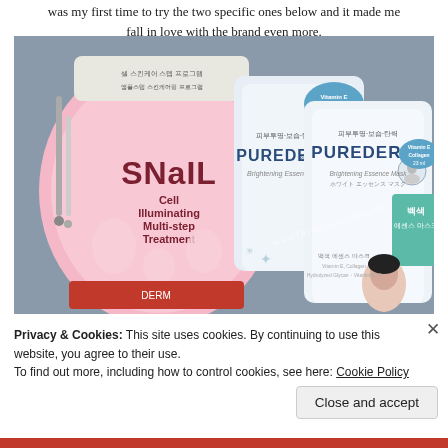was my first time to try the two specific ones below and it made me fall in love with the brand even more.
[Figure (photo): Product photo showing three Korean beauty face mask packages on a gray background: a pink SNaIL Cell Illuminating Multi-step Treatment pack on the left, and two white PUREDERM Brightening Essence Mask packages with teal Vitamin E Collagen 23ml badges on the right, with a watermark reading www.DeniseSamantha.com]
Privacy & Cookies: This site uses cookies. By continuing to use this website, you agree to their use.
To find out more, including how to control cookies, see here: Cookie Policy
Close and accept